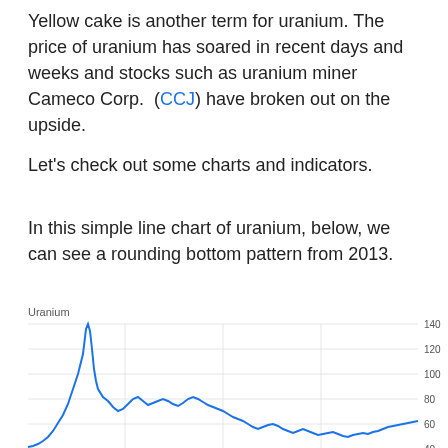Yellow cake is another term for uranium. The price of uranium has soared in recent days and weeks and stocks such as uranium miner Cameco Corp. (CCJ) have broken out on the upside.
Let's check out some charts and indicators.
In this simple line chart of uranium, below, we can see a rounding bottom pattern from 2013.
[Figure (continuous-plot): Line chart of uranium price showing a spike around 2007 to ~140, then declining with a secondary peak around 2010-2011 near 80, then a rounding bottom from 2013 with price recovering toward 40 at the right edge. Y-axis shows values 40, 60, 80, 100, 120, 140.]